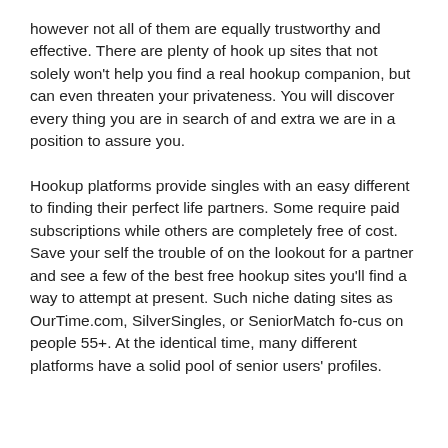however not all of them are equally trustworthy and effective. There are plenty of hook up sites that not solely won't help you find a real hookup companion, but can even threaten your privateness. You will discover every thing you are in search of and extra we are in a position to assure you.
Hookup platforms provide singles with an easy different to finding their perfect life partners. Some require paid subscriptions while others are completely free of cost. Save your self the trouble of on the lookout for a partner and see a few of the best free hookup sites you'll find a way to attempt at present. Such niche dating sites as OurTime.com, SilverSingles, or SeniorMatch fo-cus on people 55+. At the identical time, many different platforms have a solid pool of senior users' profiles.